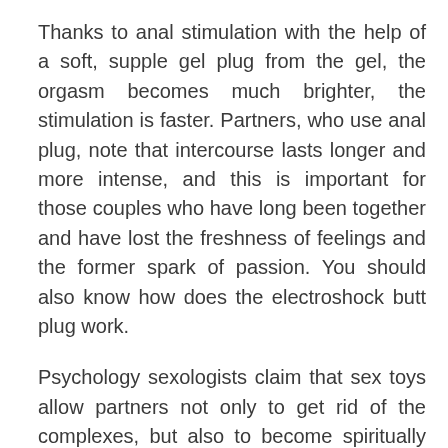Thanks to anal stimulation with the help of a soft, supple gel plug from the gel, the orgasm becomes much brighter, the stimulation is faster. Partners, who use anal plug, note that intercourse lasts longer and more intense, and this is important for those couples who have long been together and have lost the freshness of feelings and the former spark of passion. You should also know how does the electroshock butt plug work.
Psychology sexologists claim that sex toys allow partners not only to get rid of the complexes, but also to become spiritually closer, because quality sex is one of the most important criteria for stable and strong relationships. Anal toy or the likes of